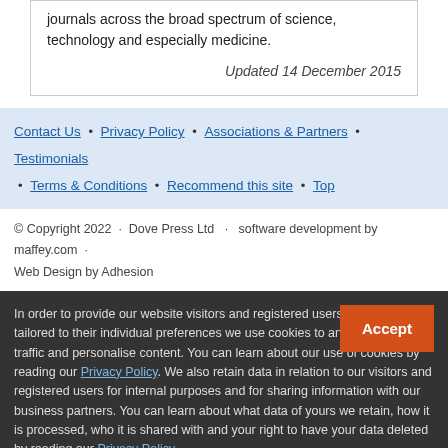journals across the broad spectrum of science, technology and especially medicine.
Updated 14 December 2015
Contact Us • Privacy Policy • Associations & Partners • Testimonials • Terms & Conditions • Recommend this site • Top
© Copyright 2022 · Dove Press Ltd · software development by maffey.com · Web Design by Adhesion
In order to provide our website visitors and registered users with a service tailored to their individual preferences we use cookies to analyse visitor traffic and personalise content. You can learn about our use of cookies by reading our Privacy Policy. We also retain data in relation to our visitors and registered users for internal purposes and for sharing information with our business partners. You can learn about what data of yours we retain, how it is processed, who it is shared with and your right to have your data deleted by reading our Privacy Policy. If you agree to our use of cookies and the contents of our Privacy Policy please click 'accept'.